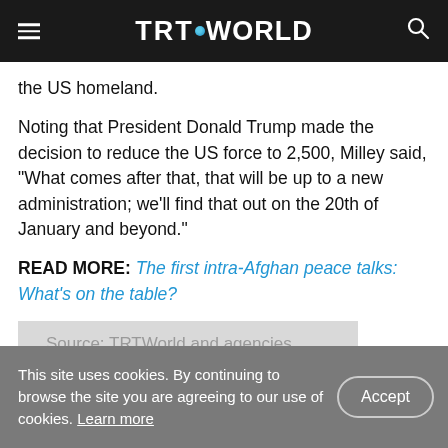TRT WORLD
the US homeland.
Noting that President Donald Trump made the decision to reduce the US force to 2,500, Milley said, “What comes after that, that will be up to a new administration; we’ll find that out on the 20th of January and beyond.”
READ MORE: The first intra-Afghan peace talks: What’s on the table?
Source: TRTWorld and agencies
This site uses cookies. By continuing to browse the site you are agreeing to our use of cookies. Learn more